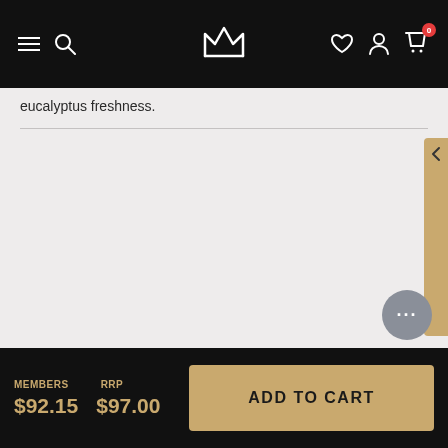Navigation bar with hamburger menu, search, crown logo, wishlist, account, and cart (0 items)
eucalyptus freshness.
MEMBERS $92.15   RRP $97.00
ADD TO CART